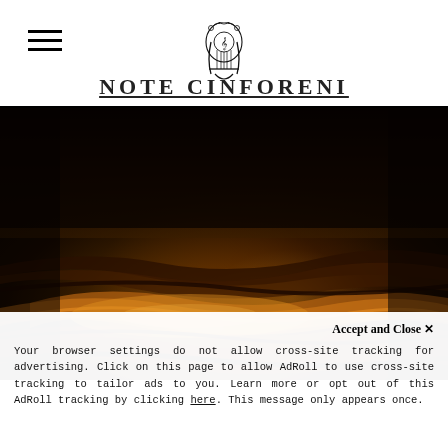≡ [logo] NOTE CINFORENI
[Figure (logo): Ornate lyre/music emblem logo centered in header]
NOTE CINFORENI
[Figure (photo): Close-up photo of warm golden-brown wood grain or string instrument surface against dark/black background, with flowing curved wood textures lit dramatically]
Accept and Close ✕
Your browser settings do not allow cross-site tracking for advertising. Click on this page to allow AdRoll to use cross-site tracking to tailor ads to you. Learn more or opt out of this AdRoll tracking by clicking here. This message only appears once.